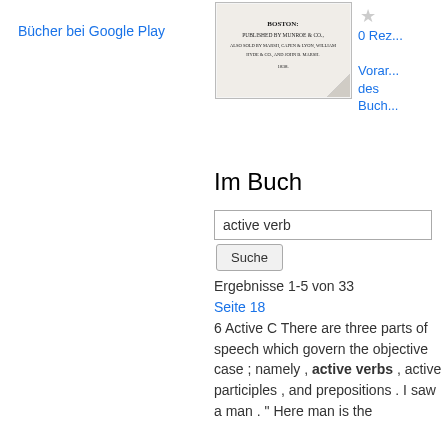Bücher bei Google Play
[Figure (illustration): Book cover thumbnail showing title page text: BOSTON: PUBLISHED BY MUNROE & CO., with additional publisher details and date 1838.]
0 Rez...
Voransicht des Buch...
Im Buch
active verb
Suche
Ergebnisse 1-5 von 33
Seite 18
6 Active C There are three parts of speech which govern the objective case ; namely , active verbs , active participles , and prepositions . I saw a man . " Here man is the